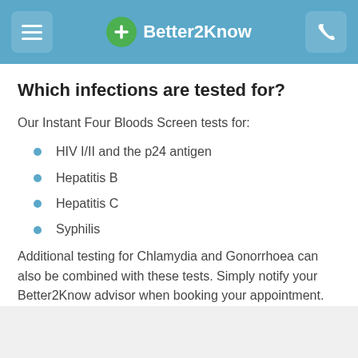Better2Know
Which infections are tested for?
Our Instant Four Bloods Screen tests for:
HIV I/II and the p24 antigen
Hepatitis B
Hepatitis C
Syphilis
Additional testing for Chlamydia and Gonorrhoea can also be combined with these tests. Simply notify your Better2Know advisor when booking your appointment.